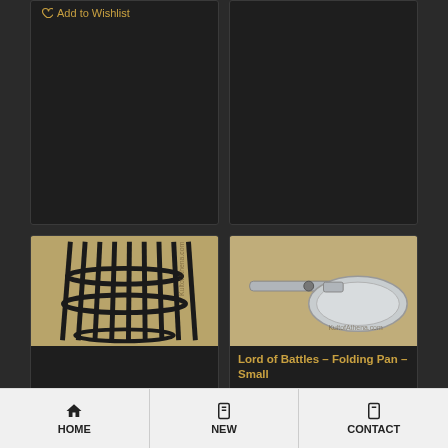Add to wishlist
[Figure (photo): Dark empty product card top-right]
[Figure (photo): Fire basket / brazier made of black iron vertical bars with horizontal banding]
[Figure (photo): Lord of Battles folding pan small - small silver frying pan with handle]
Lord of Battles – Folding Pan – Small
$10.95
HOME   NEW   CONTACT